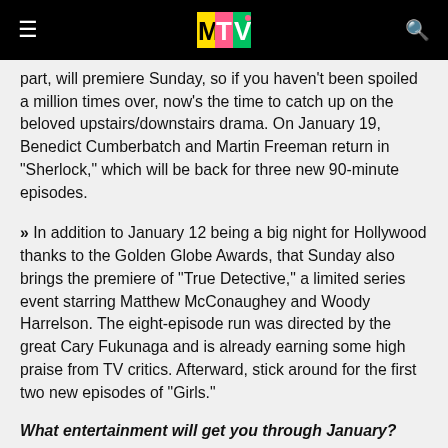MTV (logo)
part, will premiere Sunday, so if you haven't been spoiled a million times over, now's the time to catch up on the beloved upstairs/downstairs drama. On January 19, Benedict Cumberbatch and Martin Freeman return in "Sherlock," which will be back for three new 90-minute episodes.
>> In addition to January 12 being a big night for Hollywood thanks to the Golden Globe Awards, that Sunday also brings the premiere of "True Detective," a limited series event starring Matthew McConaughey and Woody Harrelson. The eight-episode run was directed by the great Cary Fukunaga and is already earning some high praise from TV critics. Afterward, stick around for the first two new episodes of "Girls."
What entertainment will get you through January?